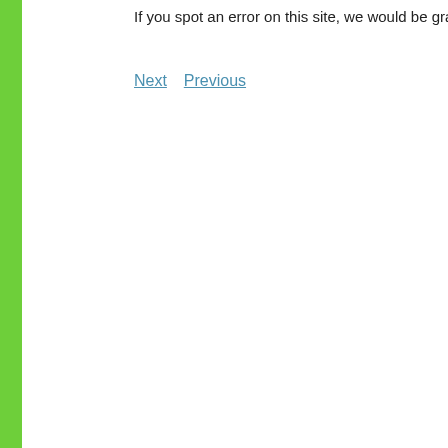If you spot an error on this site, we would be grateful if you could report it
Next   Previous